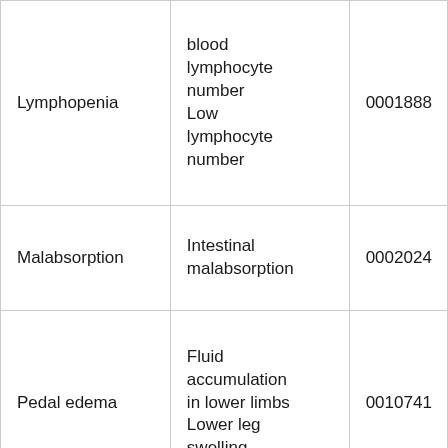| Lymphopenia | blood lymphocyte number
Low lymphocyte number | 0001888 |
| Malabsorption | Intestinal malabsorption | 0002024 |
| Pedal edema | Fluid accumulation in lower limbs
Lower leg swelling | 0010741 |
| 30%-79% of people have these symptoms |  |  |
| Abnormal | Blistering |  |